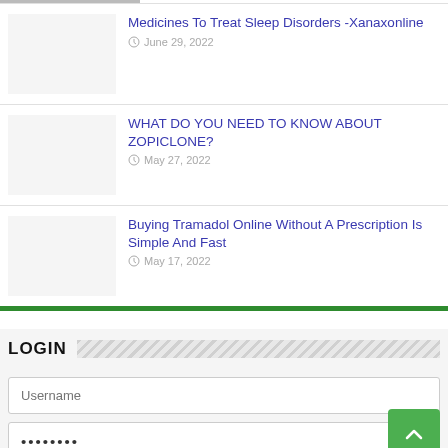Medicines To Treat Sleep Disorders -Xanaxonline
June 29, 2022
WHAT DO YOU NEED TO KNOW ABOUT ZOPICLONE?
May 27, 2022
Buying Tramadol Online Without A Prescription Is Simple And Fast
May 17, 2022
LOGIN
Username
••••••••